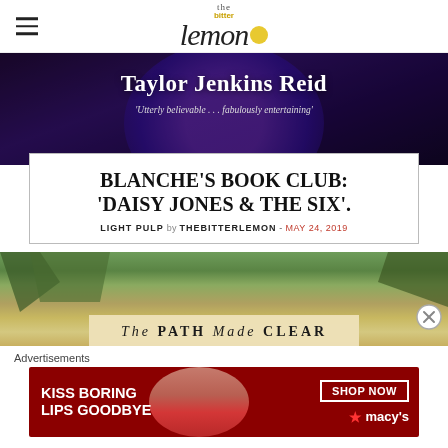the bitter lemon
[Figure (photo): Book banner with purple background showing author name Taylor Jenkins Reid and quote 'Utterly believable . . . fabulously entertaining']
BLANCHE'S BOOK CLUB: 'DAISY JONES & THE SIX'.
LIGHT PULP by THEBITTERLEMON - MAY 24, 2019
[Figure (photo): Book cover photo showing trees and the title 'The PATH Made CLEAR']
Advertisements
[Figure (photo): Macy's advertisement: KISS BORING LIPS GOODBYE - SHOP NOW - macy's with a woman's face showing red lipstick]